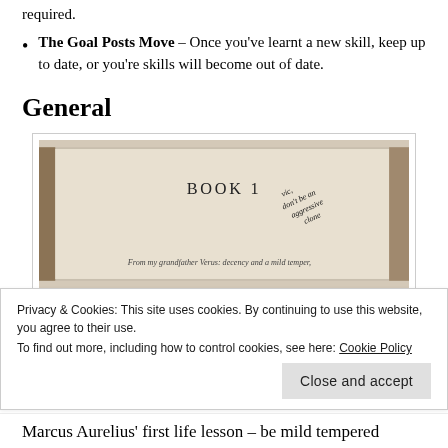required.
The Goal Posts Move – Once you've learnt a new skill, keep up to date, or you're skills will become out of date.
General
[Figure (photo): A book opened to BOOK 1 with handwritten notes: 'don't be an aggressive clone' and printed text at the bottom: 'From my grandfather Verus: decency and a mild temper.']
Privacy & Cookies: This site uses cookies. By continuing to use this website, you agree to their use. To find out more, including how to control cookies, see here: Cookie Policy
Marcus Aurelius' first life lesson – be mild tempered